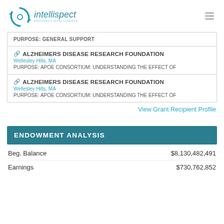intellispect
PURPOSE: GENERAL SUPPORT
ALZHEIMERS DISEASE RESEARCH FOUNDATION
Wellesley Hills, MA
PURPOSE: APOE CONSORTIUM: UNDERSTANDING THE EFFECT OF
ALZHEIMERS DISEASE RESEARCH FOUNDATION
Wellesley Hills, MA
PURPOSE: APOE CONSORTIUM: UNDERSTANDING THE EFFECT OF
View Grant Recipient Profile
ENDOWMENT ANALYSIS
|  |  |
| --- | --- |
| Beg. Balance | $8,130,482,491 |
| Earnings | $730,762,852 |